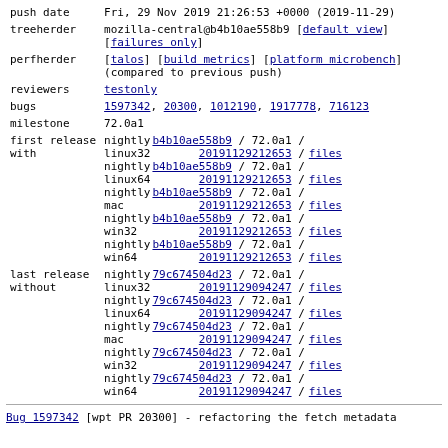| push date | Fri, 29 Nov 2019 21:26:53 +0000 (2019-11-29) |
| treeherder | mozilla-central@b4b10ae558b9 [default view] [failures only] |
| perfherder | [talos] [build metrics] [platform microbench] (compared to previous push) |
| reviewers | testonly |
| bugs | 1597342, 20300, 1012190, 1917778, 716123 |
| milestone | 72.0a1 |
| first release with | nightly linux32 b4b10ae558b9 / 72.0a1 / 20191129212653 / files
nightly linux64 b4b10ae558b9 / 72.0a1 / 20191129212653 / files
nightly mac b4b10ae558b9 / 72.0a1 / 20191129212653 / files
nightly win32 b4b10ae558b9 / 72.0a1 / 20191129212653 / files
nightly win64 b4b10ae558b9 / 72.0a1 / 20191129212653 / files |
| last release without | nightly linux32 79c674504d23 / 72.0a1 / 20191129094247 / files
nightly linux64 79c674504d23 / 72.0a1 / 20191129094247 / files
nightly mac 79c674504d23 / 72.0a1 / 20191129094247 / files
nightly win32 79c674504d23 / 72.0a1 / 20191129094247 / files
nightly win64 79c674504d23 / 72.0a1 / 20191129094247 / files |
Bug 1597342 [wpt PR 20300] - refactoring the fetch metadata